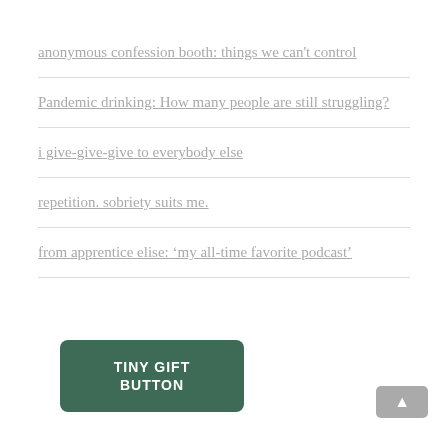anonymous confession booth: things we can't control
Pandemic drinking: How many people are still struggling?
i give-give-give to everybody else
repetition. sobriety suits me.
from apprentice elise: ‘my all-time favorite podcast’
[Figure (illustration): Dark green rounded rectangle button with text 'TINY GIFT BUTTON' in white uppercase letters]
[Figure (illustration): Gray rounded rectangle scroll-to-top button with upward arrow icon]